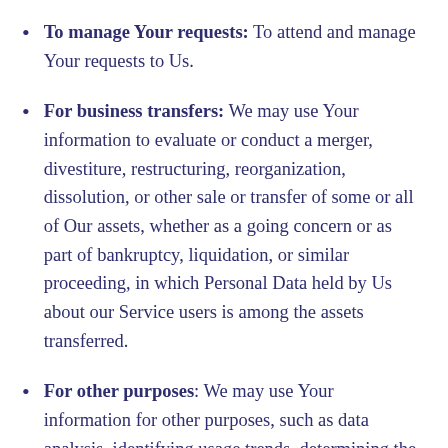To manage Your requests: To attend and manage Your requests to Us.
For business transfers: We may use Your information to evaluate or conduct a merger, divestiture, restructuring, reorganization, dissolution, or other sale or transfer of some or all of Our assets, whether as a going concern or as part of bankruptcy, liquidation, or similar proceeding, in which Personal Data held by Us about our Service users is among the assets transferred.
For other purposes: We may use Your information for other purposes, such as data analysis, identifying usage trends, determining the effectiveness of our